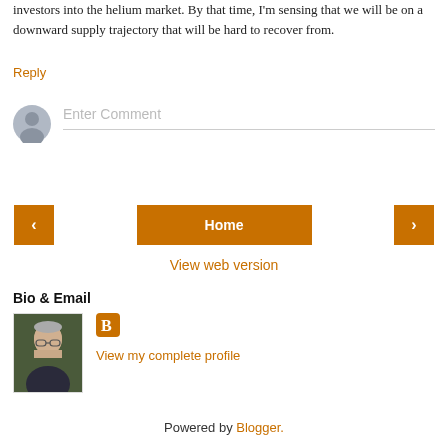investors into the helium market. By that time, I'm sensing that we will be on a downward supply trajectory that will be hard to recover from.
Reply
[Figure (other): Comment input area with avatar icon and 'Enter Comment' placeholder text]
[Figure (other): Navigation bar with left arrow button, Home button, and right arrow button, all in orange/brown color]
View web version
Bio & Email
[Figure (photo): Headshot photo of an older man with grey hair and glasses, wearing a dark jacket]
[Figure (logo): Blogger icon - orange square with white 'B' letter]
View my complete profile
Powered by Blogger.